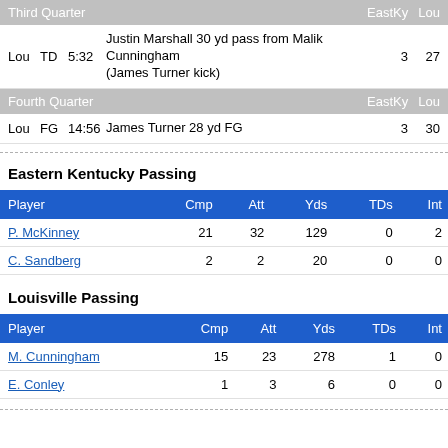| Team | Type | Time | Description | EastKy | Lou |
| --- | --- | --- | --- | --- | --- |
| Lou | TD | 5:32 | Justin Marshall 30 yd pass from Malik Cunningham (James Turner kick) | 3 | 27 |
| Team | Type | Time | Description | EastKy | Lou |
| --- | --- | --- | --- | --- | --- |
| Lou | FG | 14:56 | James Turner 28 yd FG | 3 | 30 |
Eastern Kentucky Passing
| Player | Cmp | Att | Yds | TDs | Int |
| --- | --- | --- | --- | --- | --- |
| P. McKinney | 21 | 32 | 129 | 0 | 2 |
| C. Sandberg | 2 | 2 | 20 | 0 | 0 |
Louisville Passing
| Player | Cmp | Att | Yds | TDs | Int |
| --- | --- | --- | --- | --- | --- |
| M. Cunningham | 15 | 23 | 278 | 1 | 0 |
| E. Conley | 1 | 3 | 6 | 0 | 0 |